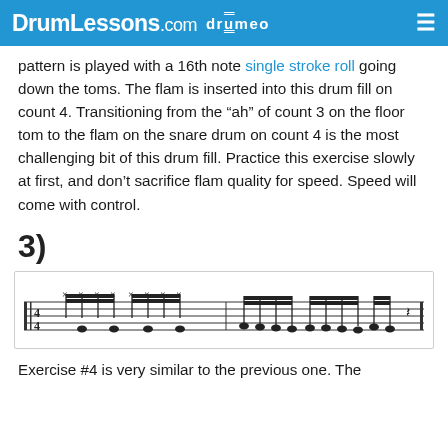DrumLessons.com drumeo
pattern is played with a 16th note single stroke roll going down the toms. The flam is inserted into this drum fill on count 4. Transitioning from the “ah” of count 3 on the floor tom to the flam on the snare drum on count 4 is the most challenging bit of this drum fill. Practice this exercise slowly at first, and don’t sacrifice flam quality for speed. Speed will come with control.
3)
[Figure (illustration): Sheet music notation showing a drum fill exercise with 16th notes, hi-hat crosses, and various note groupings across one bar.]
Exercise #4 is very similar to the previous one. The